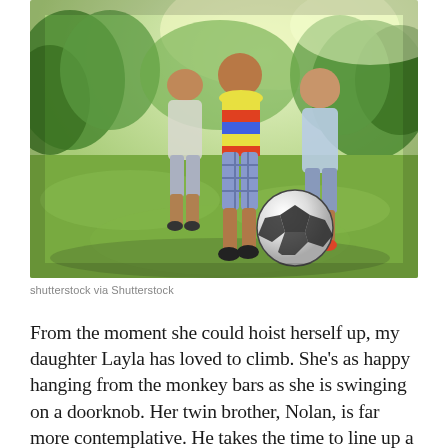[Figure (photo): Two children and an adult playing soccer/football on a green grassy field with trees in the background. A child in a colorful striped shirt is near a soccer ball.]
shutterstock via Shutterstock
From the moment she could hoist herself up, my daughter Layla has loved to climb. She's as happy hanging from the monkey bars as she is swinging on a doorknob. Her twin brother, Nolan, is far more contemplative. He takes the time to line up a ball before he kicks it and carefully studies the fastest way to get down a